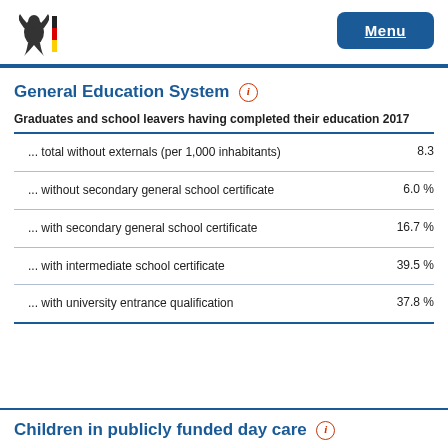Menu
General Education System
| Category | Value |
| --- | --- |
| Graduates and school leavers having completed their education 2017 |  |
| ... total without externals (per 1,000 inhabitants) | 8.3 |
| ... without secondary general school certificate | 6.0 % |
| ... with secondary general school certificate | 16.7 % |
| ... with intermediate school certificate | 39.5 % |
| ... with university entrance qualification | 37.8 % |
Children in publicly funded day care